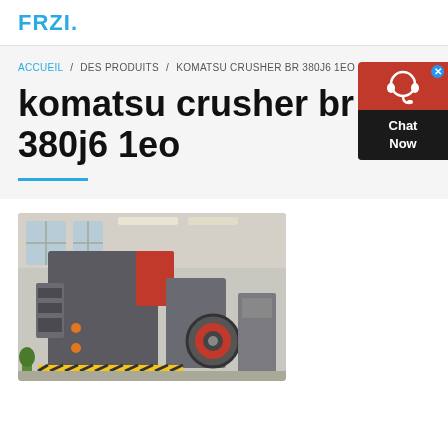FRZI.
ACCUEIL / DES PRODUITS / KOMATSU CRUSHER BR 380J6 1EO
komatsu crusher br 380j6 1eo
[Figure (photo): Photo of a large industrial Komatsu crusher machine (BR 380J6 1EO) in a factory/warehouse setting. The machine is grey and red, shown in a large industrial hall with windows.]
[Figure (other): Chat Now widget — red and dark background with headset icon and 'Chat Now' label]